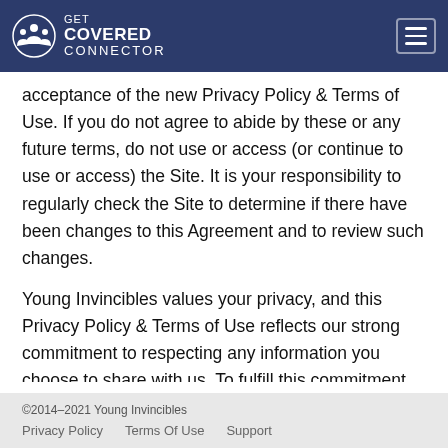GET COVERED CONNECTOR
acceptance of the new Privacy Policy & Terms of Use. If you do not agree to abide by these or any future terms, do not use or access (or continue to use or access) the Site. It is your responsibility to regularly check the Site to determine if there have been changes to this Agreement and to review such changes.
Young Invincibles values your privacy, and this Privacy Policy & Terms of Use reflects our strong commitment to respecting any information you choose to share with us. To fulfill this commitment, Young Invincibles agrees to exercise reasonable precautions to maintain the confidentiality of information provided by you in connection with accessing and using the Site. Young Invincibles does not collect
©2014–2021 Young Invincibles
Privacy Policy   Terms Of Use   Support